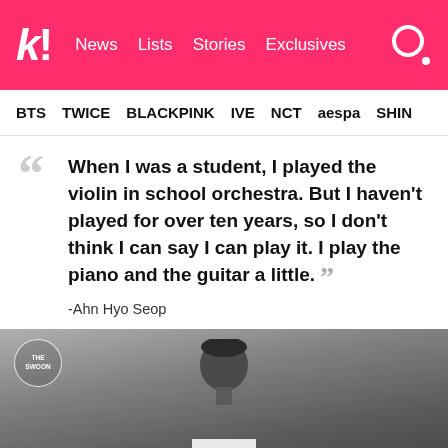k! News  Lists  Stories  Exclusives
BTS  TWICE  BLACKPINK  IVE  NCT  aespa  SHIN
"When I was a student, I played the violin in school orchestra. But I haven't played for over ten years, so I don't think I can say I can play it. I play the piano and the guitar a little." -Ahn Hyo Seop
[Figure (photo): Black and white photo of Ahn Hyo Seop, Korean actor, with The Swoon logo overlay in upper left corner.]